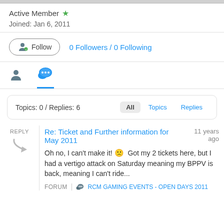Active Member ★
Joined: Jan 6, 2011
Follow   0 Followers / 0 Following
[Figure (other): Two tab icons: a person icon (inactive) and a speech bubble icon (active, blue underline)]
Topics: 0 / Replies: 6    All  Topics  Replies
REPLY
Re: Ticket and Further information for May 2011
11 years ago
Oh no, I can't make it! 🙁  Got my 2 tickets here, but I had a vertigo attack on Saturday meaning my BPPV is back, meaning I can't ride...
FORUM  RCM GAMING EVENTS - OPEN DAYS 2011